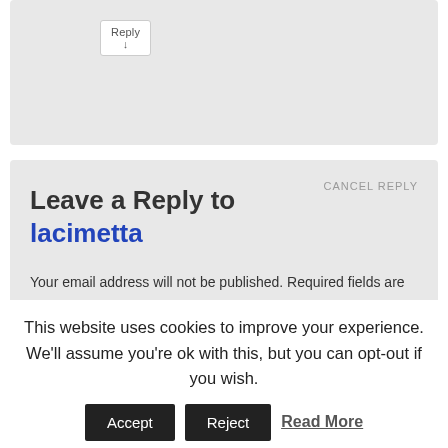Reply ↓
Leave a Reply to lacimetta
CANCEL REPLY
Your email address will not be published. Required fields are marked *
Comment *
This website uses cookies to improve your experience. We'll assume you're ok with this, but you can opt-out if you wish.
Accept
Reject
Read More